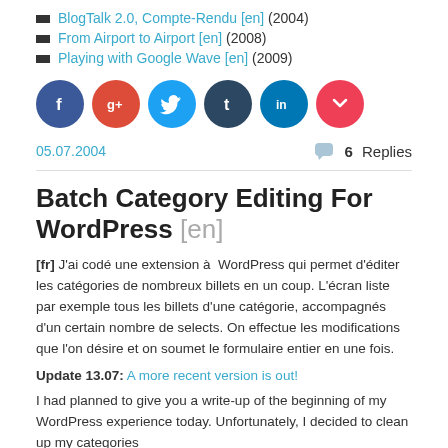BlogTalk 2.0, Compte-Rendu [en] (2004)
From Airport to Airport [en] (2008)
Playing with Google Wave [en] (2009)
[Figure (infographic): Six social media sharing icon circles: Facebook (dark blue), Google+ (red), Twitter (light blue), Tumblr (dark navy), LinkedIn (blue), Pocket (red/pink)]
05.07.2004
6 Replies
Batch Category Editing For WordPress [en]
[fr] J'ai codé une extension à  WordPress qui permet d'éditer les catégories de nombreux billets en un coup. L'écran liste par exemple tous les billets d'une catégorie, accompagnés d'un certain nombre de selects. On effectue les modifications que l'on désire et on soumet le formulaire entier en une fois.
Update 13.07: A more recent version is out!
I had planned to give you a write-up of the beginning of my WordPress experience today. Unfortunately, I decided to clean up my categories a good bit before I did that and I encourage to do all my own thing.